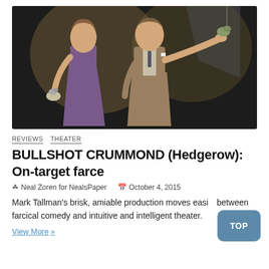[Figure (photo): Two actors on a stage: a woman in a purple dress holding a small bird puppet in her gloved hands on the left, and a man in a brown suit holding up a bird puppet with his right hand on the right. Dark theatrical background.]
REVIEWS  THEATER
BULLSHOT CRUMMOND (Hedgerow): On-target farce
Neal Zoren for NealsPaper   October 4, 2015
Mark Tallman's brisk, amiable production moves easily between farcical comedy and intuitive and intelligent theater.
View More »